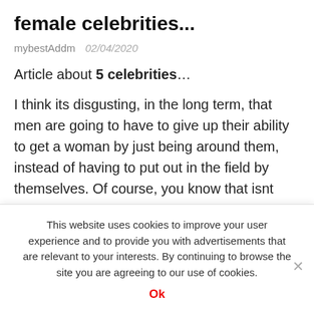female celebrities...
mybestAddm   02/04/2020
Article about 5 celebrities…
I think its disgusting, in the long term, that men are going to have to give up their ability to get a woman by just being around them, instead of having to put out in the field by themselves. Of course, you know that isnt really true too. You just know that your own preference, and that of your fellow virgins at least, is a thing that you wont be
This website uses cookies to improve your user experience and to provide you with advertisements that are relevant to your interests. By continuing to browse the site you are agreeing to our use of cookies.
Ok